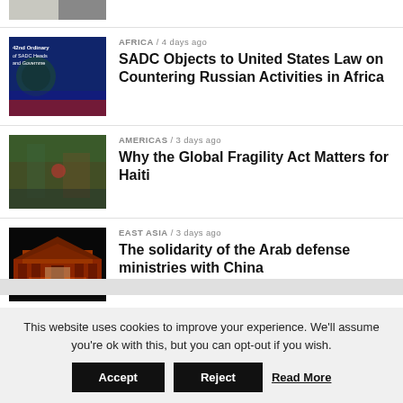[Figure (photo): Partial top image, black and white, two people visible]
AFRICA / 4 days ago
SADC Objects to United States Law on Countering Russian Activities in Africa
[Figure (photo): 42nd Ordinary of SADC Heads and Government event banner, blue background with green globe logo]
AMERICAS / 3 days ago
Why the Global Fragility Act Matters for Haiti
[Figure (photo): Street scene in Haiti, flooded street with people and buildings]
EAST ASIA / 3 days ago
The solidarity of the Arab defense ministries with China
[Figure (photo): Tiananmen Gate illuminated at night in red and orange light]
This website uses cookies to improve your experience. We'll assume you're ok with this, but you can opt-out if you wish.
Accept
Reject
Read More